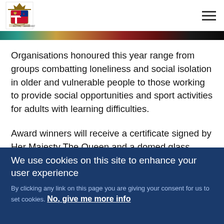[Royal coat of arms logo] [Navigation menu icon]
[Figure (photo): Decorative coloured image strip showing people at an event]
Organisations honoured this year range from groups combatting loneliness and social isolation in older and vulnerable people to those working to provide social opportunities and sport activities for adults with learning difficulties.
Award winners will receive a certificate signed by Her Majesty The Queen and a domed glass crystal. It is the
We use cookies on this site to enhance your user experience
By clicking any link on this page you are giving your consent for us to set cookies. No, give me more info